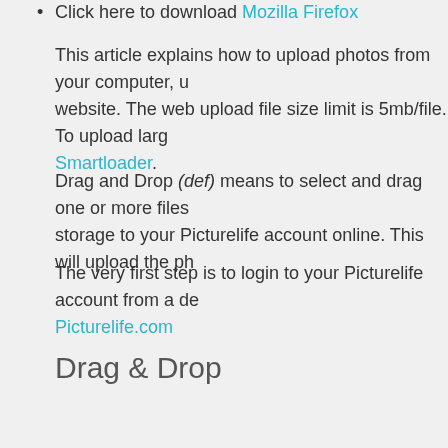Click here to download Mozilla Firefox
This article explains how to upload photos from your computer, u... website. The web upload file size limit is 5mb/file. To upload larg... Smartloader.
Drag and Drop (def) means to select and drag one or more files ... storage to your Picturelife account online. This will upload the ph...
The very first step is to login to your Picturelife account from a de... Picturelife.com
Drag & Drop
Select the photo or video files you want to upload - drag an... with folders.
Use your mouse to drag the photos to your logged in Pictur... drop the photos there.
It will take a few moments for the photos to appear - hit the Refr... minutes to view the uploads.
The Upload button